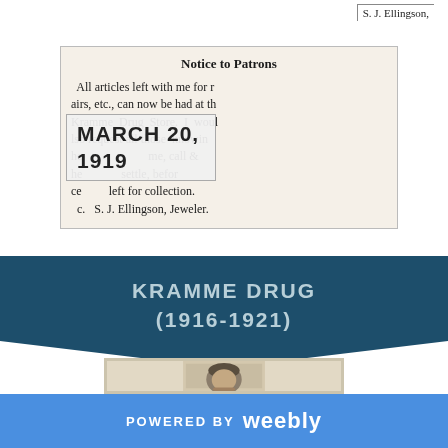S. J. Ellingson,
Notice to Patrons
All articles left with me for repairs, etc., can now be had at the Kramme Drug Store. I would also request all those knowing he me, call and settle, before accounts left for collection. S. J. Ellingson, Jeweler.
MARCH 20, 1919
KRAMME DRUG (1916-1921)
[Figure (photo): Black and white portrait photo of a person, head and shoulders visible]
POWERED BY weebly